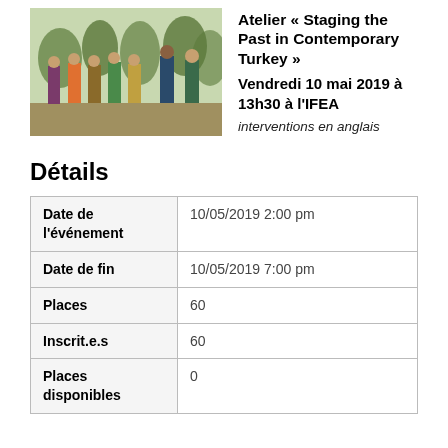[Figure (photo): Group of people in historical Ottoman-style costumes standing outdoors among trees]
Atelier « Staging the Past in Contemporary Turkey »
Vendredi 10 mai 2019 à 13h30 à l'IFEA
interventions en anglais
Détails
|  |  |
| --- | --- |
| Date de l'événement | 10/05/2019 2:00 pm |
| Date de fin | 10/05/2019 7:00 pm |
| Places | 60 |
| Inscrit.e.s | 60 |
| Places disponibles | 0 |